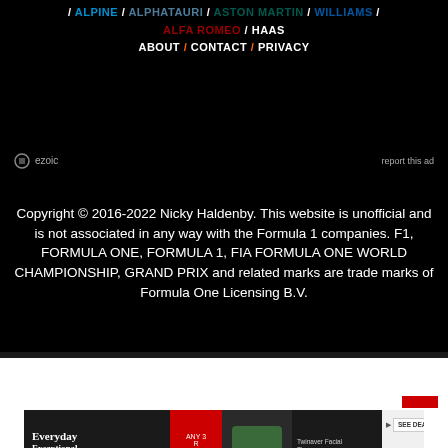/ ALPINE / ALPHATAURI / ASTON MARTIN / WILLIAMS / ALFA ROMEO / HAAS ABOUT / CONTACT / PRIVACY
[Figure (other): Ezoic ad placeholder with ezoic logo and 'report this ad' text]
Copyright © 2016-2022 Nicky Haldenby. This website is unofficial and is not associated in any way with the Formula 1 companies. F1, FORMULA ONE, FORMULA 1, FIA FORMULA ONE WORLD CHAMPIONSHIP, GRAND PRIX and related marks are trade marks of Formula One Licensing B.V.
[Figure (other): Pick n Pay advertisement banner: Everyday Exceptional, Any 3 R60 Save R38, Twinaver Facial Tissues Assorted 120s, SEE DEALS button, Pick n Pay logo]